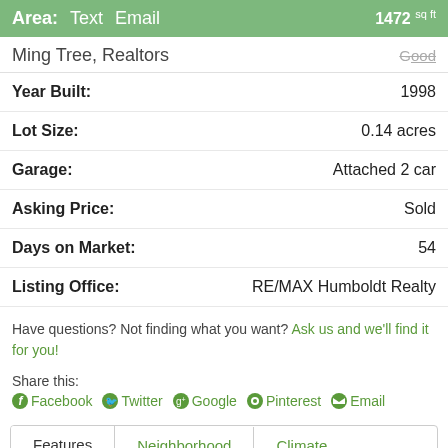Area: Text Email  1472 sq ft
Ming Tree, Realtors  Good
Year Built: 1998
Lot Size: 0.14 acres
Garage: Attached 2 car
Asking Price: Sold
Days on Market: 54
Listing Office: RE/MAX Humboldt Realty
Have questions? Not finding what you want? Ask us and we'll find it for you!
Share this: Facebook Twitter Google+ Pinterest Email
Features  Neighborhood  Climate
Interior Features: